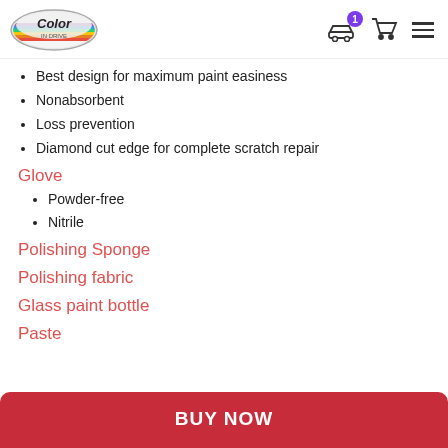[Figure (logo): Color In Drive logo — oval shaped with rainbow stripe and italic text]
Best design for maximum paint easiness
Nonabsorbent
Loss prevention
Diamond cut edge for complete scratch repair
Glove
Powder-free
Nitrile
Polishing Sponge
Polishing fabric
Glass paint bottle
Paste
BUY NOW